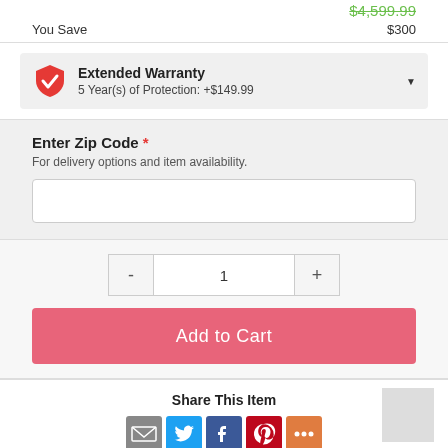$4,599.99 (strikethrough)
You Save   $300
Extended Warranty — 5 Year(s) of Protection: +$149.99
Enter Zip Code * — For delivery options and item availability.
1 (quantity)
Add to Cart
Share This Item